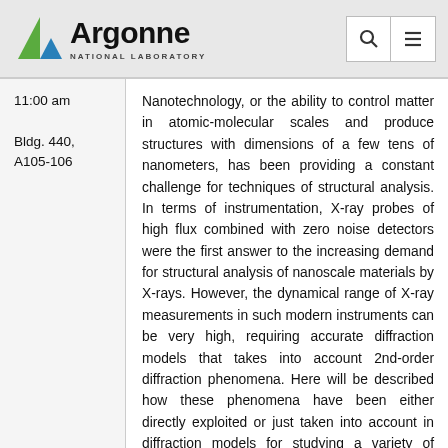Argonne National Laboratory
11:00 am

Bldg. 440, A105-106
Nanotechnology, or the ability to control matter in atomic-molecular scales and produce structures with dimensions of a few tens of nanometers, has been providing a constant challenge for techniques of structural analysis. In terms of instrumentation, X-ray probes of high flux combined with zero noise detectors were the first answer to the increasing demand for structural analysis of nanoscale materials by X-rays. However, the dynamical range of X-ray measurements in such modern instruments can be very high, requiring accurate diffraction models that takes into account 2nd-order diffraction phenomena. Here will be described how these phenomena have been either directly exploited or just taken into account in diffraction models for studying a variety of epitaxial systems: semiconductor quantum dots, layered materials of large d-spacing and random stacking sequences, and heteroepitaxy on patterned substrates.